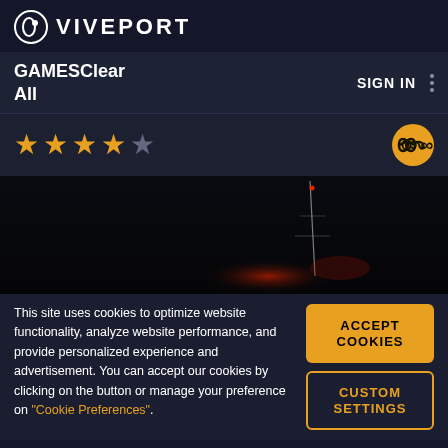VIVEPORT
GAMESClear All
SIGN IN
[Figure (other): Star rating: 4 filled stars and 1 empty/grey star, with an infinity symbol on the right]
[Figure (photo): Dark game screenshot showing a night scene with a tower/antenna and red light glow]
This site uses cookies to optimize website functionality, analyze website performance, and provide personalized experience and advertisement. You can accept our cookies by clicking on the button or manage your preference on "Cookie Preferences".
ACCEPT COOKIES
CUSTOM SETTINGS